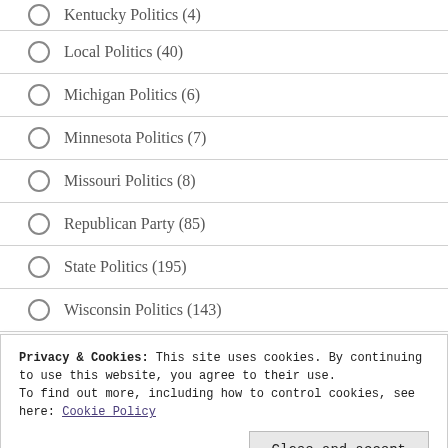Kentucky Politics (4)
Local Politics (40)
Michigan Politics (6)
Minnesota Politics (7)
Missouri Politics (8)
Republican Party (85)
State Politics (195)
Wisconsin Politics (143)
Privacy & Cookies: This site uses cookies. By continuing to use this website, you agree to their use.
To find out more, including how to control cookies, see here: Cookie Policy
Close and accept
Relationships (6)